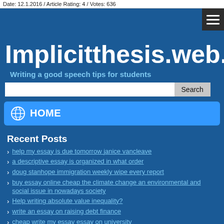Date: 12.1.2016 / Article Rating: 4 / Votes: 636
Implicitthesis.web.f
Writing a good speech tips for students
HOME
Recent Posts
help my essay is due tomorrow janice vancleave
a descriptive essay is organized in what order
doug stanhope immigration weekly wipe every report
buy essay online cheap the climate change an environmental and social issue in nowadays society
Help writing absolute value inequality?
write an essay on raising debt finance
cheap write my essay essay on university
articles nursing leadership dissertations
writing help strong topics for expository